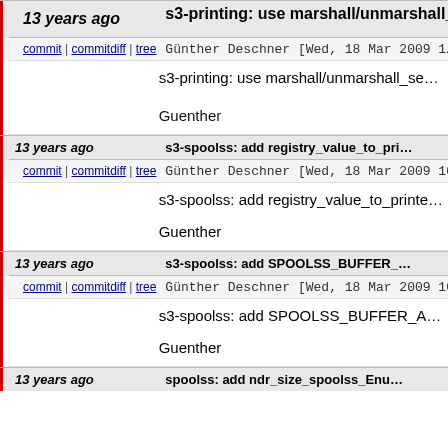13 years ago | s3-printing: use marshall/unmarshall_...
commit | commitdiff | tree  Günther Deschner [Wed, 18 Mar 2009 1...
s3-printing: use marshall/unmarshall_se...
Guenther
13 years ago | s3-spoolss: add registry_value_to_pri...
commit | commitdiff | tree  Günther Deschner [Wed, 18 Mar 2009 10...
s3-spoolss: add registry_value_to_printe...
Guenther
13 years ago | s3-spoolss: add SPOOLSS_BUFFER_...
commit | commitdiff | tree  Günther Deschner [Wed, 18 Mar 2009 10...
s3-spoolss: add SPOOLSS_BUFFER_A...
Guenther
13 years ago | spoolss: add ndr_size_spoolss_Enu...